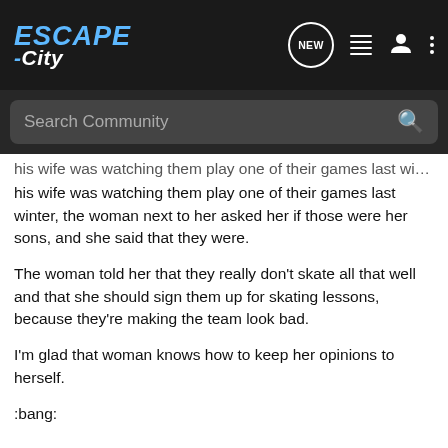Escape-City — NEW navigation bar with search, list, user, and more icons
his wife was watching them play one of their games last winter, the woman next to her asked her if those were her sons, and she said that they were.
The woman told her that they really don't skate all that well and that she should sign them up for skating lessons, because they're making the team look bad.
I'm glad that woman knows how to keep her opinions to herself.
:bang:
2020 Ford Explorer Limited 4WD
2021 Ford Bronco Sport Outer Banks 4WD